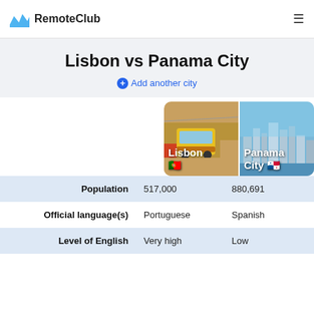RemoteClub
Lisbon vs Panama City
Add another city
[Figure (photo): Two city photos side by side: Lisbon (yellow tram) and Panama City (skyline), each with city name and flag emoji overlaid]
|  | Lisbon | Panama City |
| --- | --- | --- |
| Population | 517,000 | 880,691 |
| Official language(s) | Portuguese | Spanish |
| Level of English | Very high | Low |